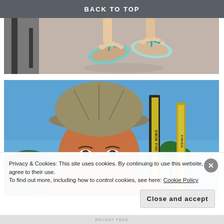BACK TO TOP
[Figure (photo): Overhead view of someone's feet wearing teal flip-flops on a concrete surface, with a dark metal chair leg visible on the left]
[Figure (photo): Selfie of a middle-aged man wearing a beige/olive baseball cap, smiling, with a blue sky background and tall 'SWIM FINISH' banner flags visible behind him, and palm trees in the distance]
Privacy & Cookies: This site uses cookies. By continuing to use this website, you agree to their use.
To find out more, including how to control cookies, see here: Cookie Policy
Close and accept